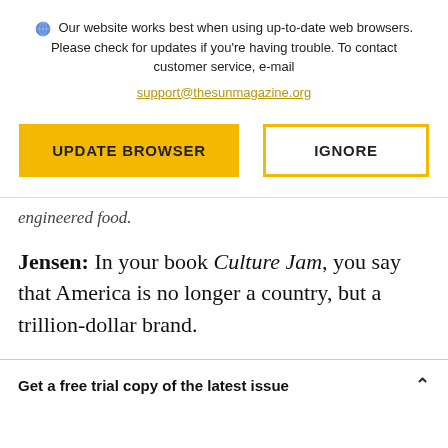Our website works best when using up-to-date web browsers. Please check for updates if you're having trouble. To contact customer service, e-mail support@thesunmagazine.org
UPDATE BROWSER
IGNORE
engineered food.
Jensen: In your book Culture Jam, you say that America is no longer a country, but a trillion-dollar brand.
Get a free trial copy of the latest issue